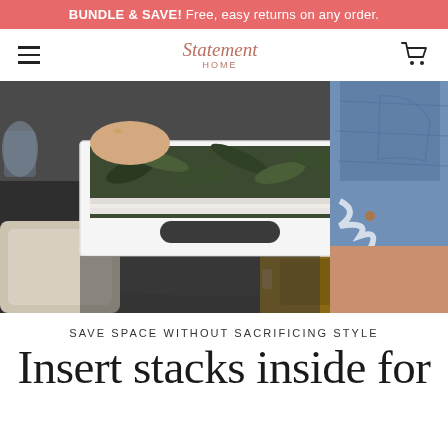BUNDLE & SAVE! Free, easy returns on any order.
[Figure (screenshot): Navigation bar with hamburger menu on left, Statement Home script logo in center, and shopping cart icon on right]
[Figure (photo): Person in denim cutoff shorts pulling out a white tray with tropical leaf pattern liner from a kitchen drawer, with dark countertop and beige ceramic dish visible]
SAVE SPACE WITHOUT SACRIFICING STYLE
Insert stacks inside for